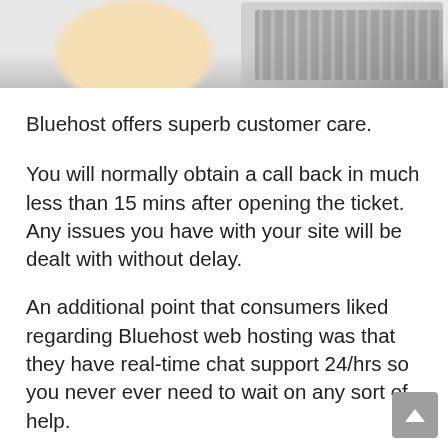[Figure (photo): Partial photo of a person in a blue plaid shirt using a phone or device, with a laptop keyboard visible in the background. Only the bottom portion of the image is visible.]
Bluehost offers superb customer care.
You will normally obtain a call back in much less than 15 mins after opening the ticket. Any issues you have with your site will be dealt with without delay.
An additional point that consumers liked regarding Bluehost web hosting was that they have real-time chat support 24/hrs so you never ever need to wait on any sort of help.
With online support available throughout organization hrs (Monday through Friday),